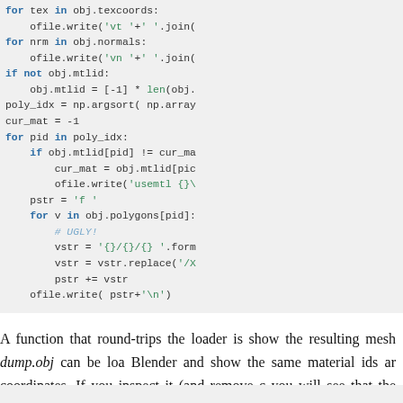[Figure (screenshot): Python code block showing a for loop over texcoords and normals, if not obj.mtlid block, poly_idx assignment, cur_mat assignment, for pid in poly_idx loop with nested if, ofile.write usemtl, pstr assignment, for v in obj.polygons loop with comment UGLY, vstr assignments, pstr += vstr, ofile.write pstr+newline]
A function that round-trips the loader is shown below. The resulting mesh dump.obj can be loaded into Blender and show the same material ids and texture coordinates. If you inspect it (and remove comments) you will see that the arrays match the string-based function: